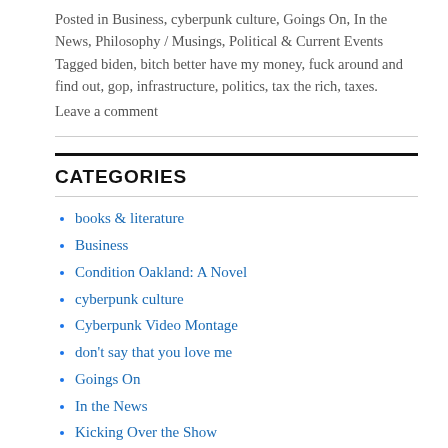Posted in Business, cyberpunk culture, Goings On, In the News, Philosophy / Musings, Political & Current Events Tagged biden, bitch better have my money, fuck around and find out, gop, infrastructure, politics, tax the rich, taxes.
Leave a comment
CATEGORIES
books & literature
Business
Condition Oakland: A Novel
cyberpunk culture
Cyberpunk Video Montage
don't say that you love me
Goings On
In the News
Kicking Over the Show
movie response
music
My Writing
news in brief video updates
novel-in-progress